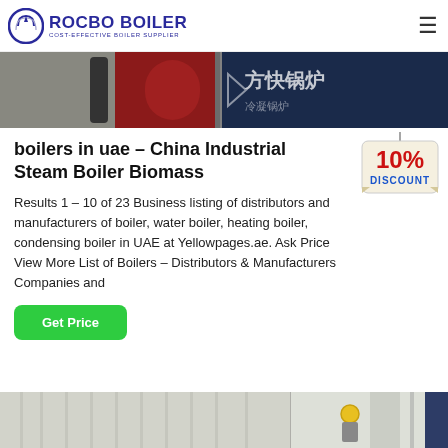ROCBO BOILER — COST-EFFECTIVE BOILER SUPPLIER
[Figure (photo): Industrial boiler equipment with red cylindrical tank and Chinese text signage on dark blue background]
boilers in uae – China Industrial Steam Boiler Biomass
[Figure (infographic): 10% DISCOUNT badge hanging sign with red text on cream background]
Results 1 – 10 of 23 Business listing of distributors and manufacturers of boiler, water boiler, heating boiler, condensing boiler in UAE at Yellowpages.ae. Ask Price View More List of Boilers – Distributors & Manufacturers Companies and
[Figure (photo): Industrial boiler machinery or equipment, partially visible at bottom of page, showing a worker with yellow helmet near white industrial pipes/tanks]